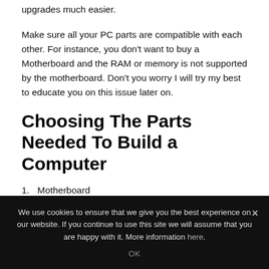upgrades much easier.
Make sure all your PC parts are compatible with each other. For instance, you don't want to buy a Motherboard and the RAM or memory is not supported by the motherboard. Don't you worry I will try my best to educate you on this issue later on.
Choosing The Parts Needed To Build a Computer
1. Motherboard
2. Computer Case
We use cookies to ensure that we give you the best experience on our website. If you continue to use this site we will assume that you are happy with it. More information here.